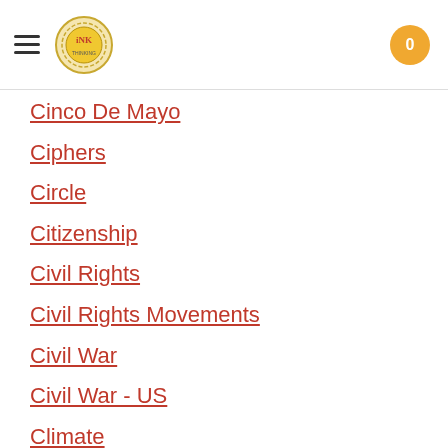INK [logo] | 0
Cinco De Mayo
Ciphers
Circle
Citizenship
Civil Rights
Civil Rights Movements
Civil War
Civil War - US
Climate
Climate Change
Clocks And Watches
Clouds
Cobb Vicki
COBOL (Computer Language)